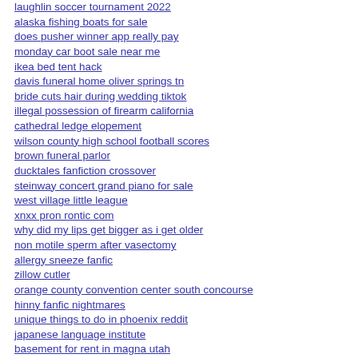laughlin soccer tournament 2022
alaska fishing boats for sale
does pusher winner app really pay
monday car boot sale near me
ikea bed tent hack
davis funeral home oliver springs tn
bride cuts hair during wedding tiktok
illegal possession of firearm california
cathedral ledge elopement
wilson county high school football scores
brown funeral parlor
ducktales fanfiction crossover
steinway concert grand piano for sale
west village little league
xnxx pron rontic com
why did my lips get bigger as i get older
non motile sperm after vasectomy
allergy sneeze fanfic
zillow cutler
orange county convention center south concourse
hinny fanfic nightmares
unique things to do in phoenix reddit
japanese language institute
basement for rent in magna utah
vmx datasheet
state of iowa human resources